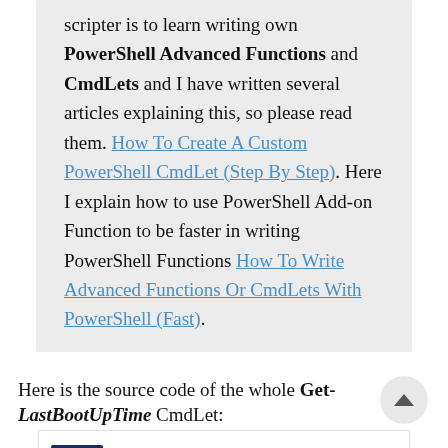scripter is to learn writing own PowerShell Advanced Functions and CmdLets and I have written several articles explaining this, so please read them. How To Create A Custom PowerShell CmdLet (Step By Step). Here I explain how to use PowerShell Add-on Function to be faster in writing PowerShell Functions How To Write Advanced Functions Or CmdLets With PowerShell (Fast).
Here is the source code of the whole Get-LastBootUpTime CmdLet:
[Figure (other): Advertisement for Sterling store showing CM logo, store name, OPEN status, hours 10AM-9PM, address 45210 Towlern Place Sterling, navigation arrow icon, and small ad icons (play and close)]